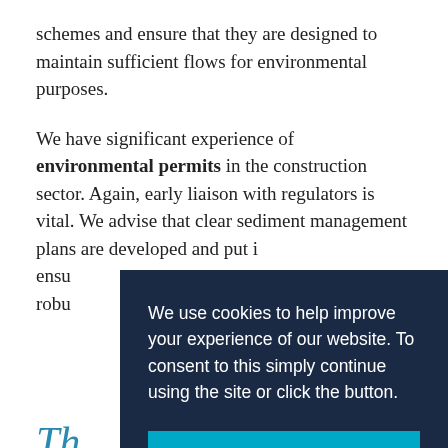schemes and ensure that they are designed to maintain sufficient flows for environmental purposes.
We have significant experience of environmental permits in the construction sector. Again, early liaison with regulators is vital. We advise that clear sediment management plans are developed and put in place to ensure robust...
Th...
Wat... ecol... water and ground-water bodies in the UK.
We use cookies to help improve your experience of our website. To consent to this simply continue using the site or click the button.
Got it!